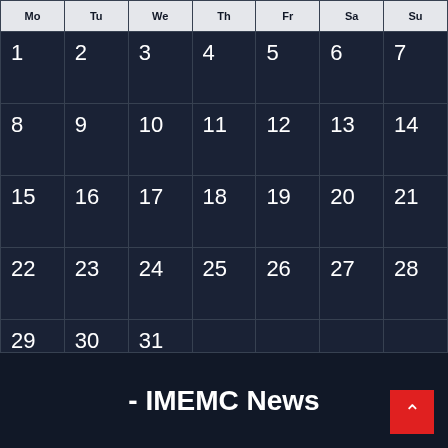| Mo | Tu | We | Th | Fr | Sa | Su |
| --- | --- | --- | --- | --- | --- | --- |
| 1 | 2 | 3 | 4 | 5 | 6 | 7 |
| 8 | 9 | 10 | 11 | 12 | 13 | 14 |
| 15 | 16 | 17 | 18 | 19 | 20 | 21 |
| 22 | 23 | 24 | 25 | 26 | 27 | 28 |
| 29 | 30 | 31 |  |  |  |  |
« Jul
- IMEMC News